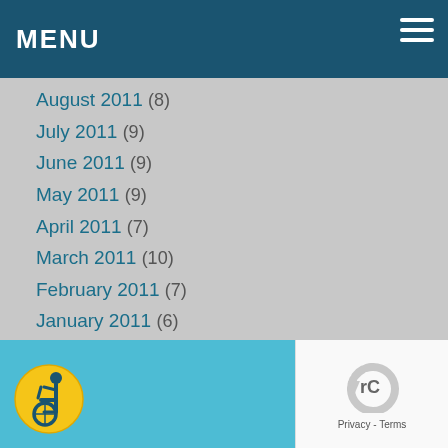MENU
August 2011 (8)
July 2011 (9)
June 2011 (9)
May 2011 (9)
April 2011 (7)
March 2011 (10)
February 2011 (7)
January 2011 (6)
December 2010 (5)
November 2010 (3)
September 2010 (1)
June 2004 (1)
January 2004 (1)
[Figure (logo): Wheelchair accessibility icon in yellow circle]
[Figure (other): reCAPTCHA privacy widget]